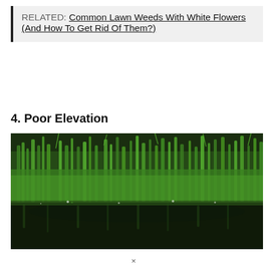RELATED: Common Lawn Weeds With White Flowers (And How To Get Rid Of Them?)
4. Poor Elevation
[Figure (photo): Close-up photo of lush green grass with water pooled at the base, reflecting the grass. Droplets visible on grass blades. Dark background with dense green lawn.]